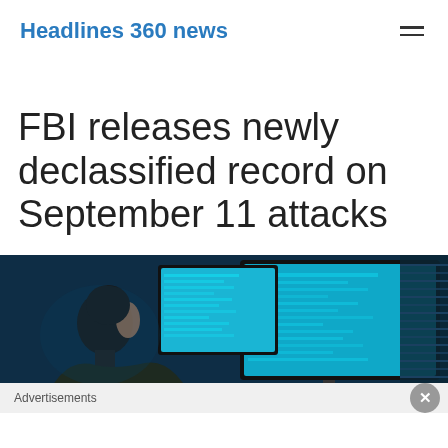Headlines 360 news
FBI releases newly declassified record on September 11 attacks
[Figure (photo): Person viewed from behind/side sitting in front of multiple computer monitors displaying blue-tinted screens with data or text, in a dimly lit room with blue ambient lighting.]
Advertisements